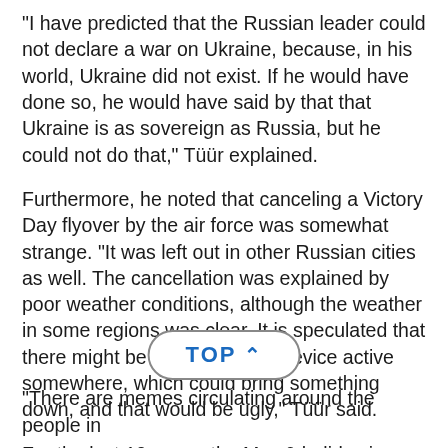"I have predicted that the Russian leader could not declare a war on Ukraine, because, in his world, Ukraine did not exist. If he would have done so, he would have said by that that Ukraine is as sovereign as Russia, but he could not do that," Tüür explained.
Furthermore, he noted that canceling a Victory Day flyover by the air force was somewhat strange. "It was left out in other Russian cities as well. The cancellation was explained by poor weather conditions, although the weather in some regions was clear. It is speculated that there might be an air defense device active somewhere, which could bring something down, and that would be ugly," Tüür said.
For the last 10 years, the May 9 holiday in Russia has been a war holiday, not a pea[ce holiday,] he said.
[Figure (other): A 'TOP ^' navigation button overlay, rounded rectangle with border, blue bold text]
"There are memes circulating around the people in